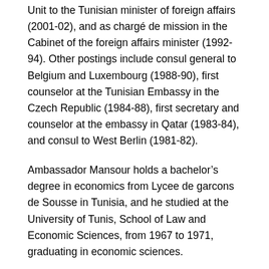Unit to the Tunisian minister of foreign affairs (2001-02), and as chargé de mission in the Cabinet of the foreign affairs minister (1992-94). Other postings include consul general to Belgium and Luxembourg (1988-90), first counselor at the Tunisian Embassy in the Czech Republic (1984-88), first secretary and counselor at the embassy in Qatar (1983-84), and consul to West Berlin (1981-82).
Ambassador Mansour holds a bachelor's degree in economics from Lycee de garcons de Sousse in Tunisia, and he studied at the University of Tunis, School of Law and Economic Sciences, from 1967 to 1971, graduating in economic sciences.
He is fluent in Arabic, French, English and Spanish, and is married with four children.
Contact Information